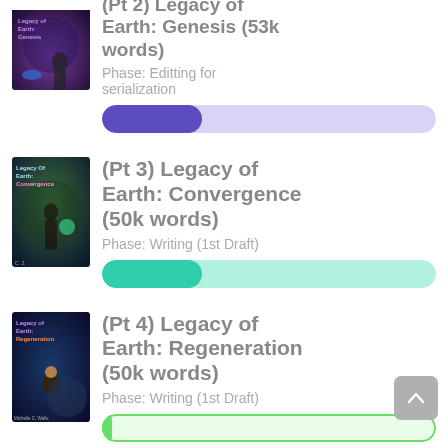(Pt 2) Legacy of Earth: Genesis (53k words)
Phase: Editting for serialization
[Figure (other): Progress bar, purple fill ~30%, showing editing phase]
(Pt 3) Legacy of Earth: Convergence (50k words)
Phase: Writing (1st Draft)
[Figure (other): Progress bar, teal/green fill ~30%, writing 1st draft phase]
(Pt 4) Legacy of Earth: Regeneration (50k words)
Phase: Writing (1st Draft)
[Figure (other): Progress bar, light green, nearly empty, writing 1st draft phase]